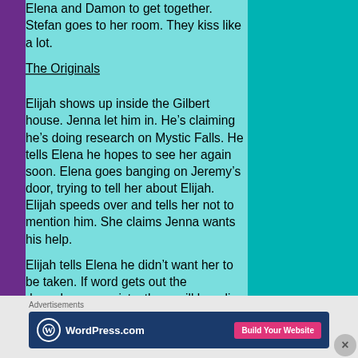Elena and Damon to get together. Stefan goes to her room. They kiss like a lot.
The Originals
Elijah shows up inside the Gilbert house. Jenna let him in. He’s claiming he’s doing research on Mystic Falls. He tells Elena he hopes to see her again soon. Elena goes banging on Jeremy’s door, trying to tell her about Elijah. Elijah speeds over and tells her not to mention him. She claims Jenna wants his help.
Elijah tells Elena he didn’t want her to be taken. If word gets out the doppelganger exists, there will be a line of vampires eager to take her to Klaus, the most feared and hated of the originals. He doesn’t want that happening. His goal is
Advertisements
[Figure (screenshot): WordPress.com advertisement banner with logo and 'Build Your Website' button]